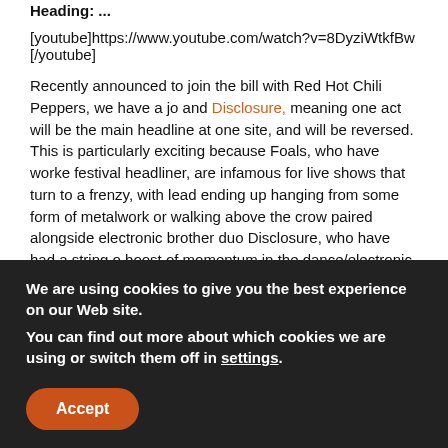Heading: [partial, cut off at top]
[youtube]https://www.youtube.com/watch?v=8DyziWtkfBw[/youtube]
Recently announced to join the bill with Red Hot Chili Peppers, we have a jo and Disclosure, meaning one act will be the main headline at one site, and will be reversed. This is particularly exciting because Foals, who have worke festival headliner, are infamous for live shows that turn to a frenzy, with lead ending up hanging from some form of metalwork or walking above the crow paired alongside electronic brother duo Disclosure, who have had a string o boost of momentum in the dance/electronic movement and brought it back i mainstream. It's worth noting that this pairing is not under festival exclusivity seeing these names elsewhere.
[youtube]https://www.youtube.com/watch?v=iuQQIawCqBA[/youtube]
Other notable acts for this gigantic festival are the Brit indie group The 1975 their second album, with their fanbase growing faster and faster. We also ha Mancunian band keeping the spirit of Britpop and the attitude of Oasis alive, In fact, calling it Britpop would to be selling their sound short: it's developme have rousing choruses and songs that can get anyone moving, it's always a
We are using cookies to give you the best experience on our Web site.
You can find out more about which cookies we are using or switch them off in settings.
Accept